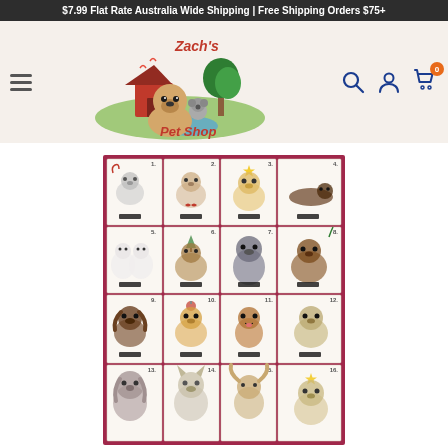$7.99 Flat Rate Australia Wide Shipping | Free Shipping Orders $75+
[Figure (logo): Zach's Pet Shop logo with cartoon pug dog, koala, birds, trees, and pond]
[Figure (photo): Dog advent calendar box with 16 numbered drawers each featuring illustrated dog breed portraits, set in a pink/red frame. Visible numbers 1-16 arranged in a 4x4 grid.]